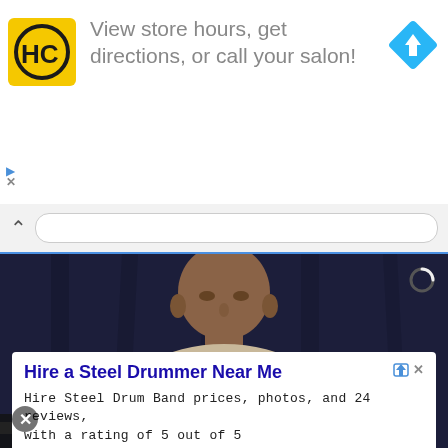[Figure (screenshot): Top advertisement banner for a hair care salon with HC logo (yellow square with black HC letters), text 'View store hours, get directions, or call your salon!', and a blue diamond navigation icon on the right]
View store hours, get directions, or call your salon!
[Figure (screenshot): Browser navigation bar with up chevron and address bar input field, with blue bottom border]
[Figure (photo): Photo of a bald man of South Asian appearance wearing a cream/tan barong shirt, sitting at a microphone at what appears to be a press conference, with dark curtain background. A camera loading indicator circle is visible in top right.]
[Figure (screenshot): Bottom advertisement for AmeriCalypso steel drum band hire service with 'Hire a Steel Drummer Near Me' title, description text, and blue Open button]
Hire a Steel Drummer Near Me
Hire Steel Drum Band prices, photos, and 24 reviews, with a rating of 5 out of 5
AmeriCalypso